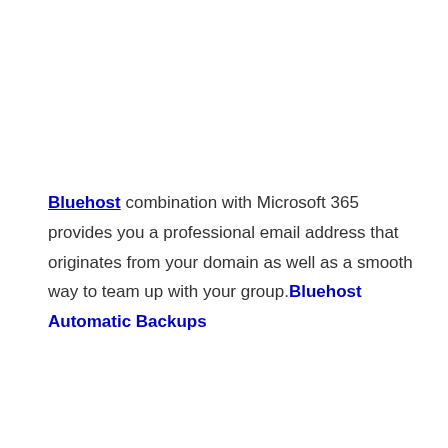Bluehost combination with Microsoft 365 provides you a professional email address that originates from your domain as well as a smooth way to team up with your group.Bluehost Automatic Backups